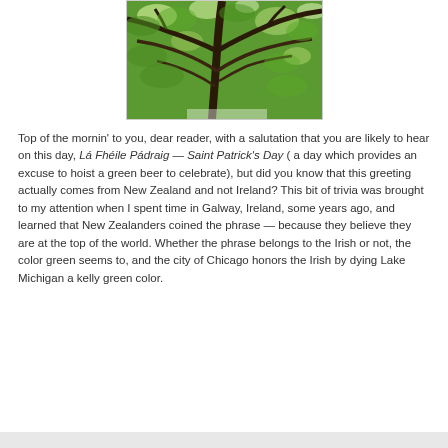[Figure (photo): Photo of green tree canopy viewed from below, with dark branches against bright green leaves]
Top of the mornin' to you, dear reader, with a salutation that you are likely to hear on this day, Lá Fhéile Pádraig — Saint Patrick's Day ( a day which provides an excuse to hoist a green beer to celebrate), but did you know that this greeting actually comes from New Zealand and not Ireland? This bit of trivia was brought to my attention when I spent time in Galway, Ireland, some years ago, and learned that New Zealanders coined the phrase — because they believe they are at the top of the world. Whether the phrase belongs to the Irish or not, the color green seems to, and the city of Chicago honors the Irish by dying Lake Michigan a kelly green color.